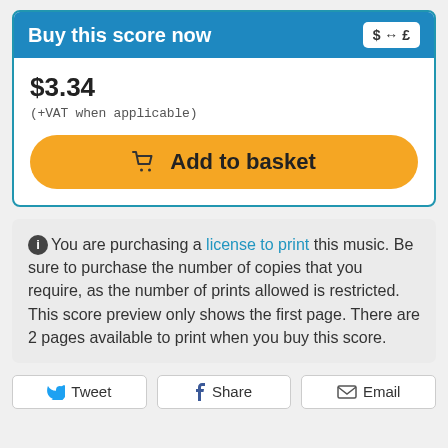Buy this score now
$3.34
(+VAT when applicable)
Add to basket
You are purchasing a license to print this music. Be sure to purchase the number of copies that you require, as the number of prints allowed is restricted. This score preview only shows the first page. There are 2 pages available to print when you buy this score.
Tweet
Share
Email